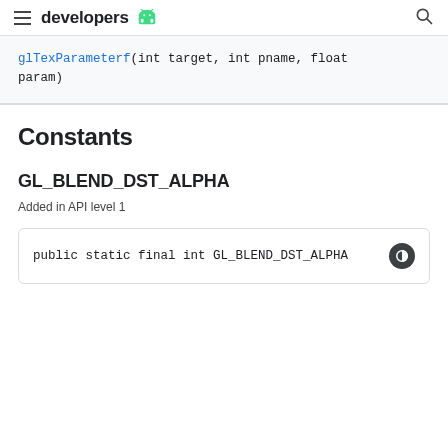developers
glTexParameterf(int target, int pname, float param)
Constants
GL_BLEND_DST_ALPHA
Added in API level 1
public static final int GL_BLEND_DST_ALPHA